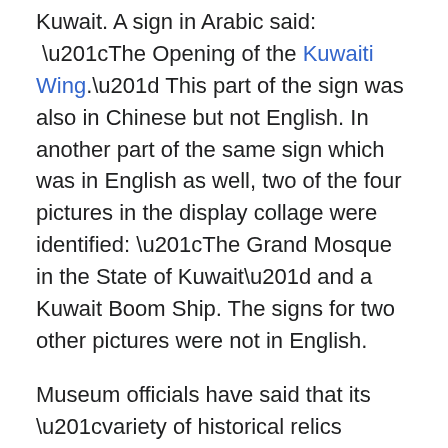Kuwait. A sign in Arabic said: “The Opening of the Kuwaiti Wing.” This part of the sign was also in Chinese but not English. In another part of the same sign which was in English as well, two of the four pictures in the display collage were identified: “The Grand Mosque in the State of Kuwait” and a Kuwait Boom Ship. The signs for two other pictures were not in English.
Museum officials have said that its “variety of historical relics provide valuable materials for people to study Islamic culture,” adding that “We are working with Islamic associations and institutes.” They have reported that “ambassadors and scholars from Kuwait, Yemen, Iran {21}, Pakistan, Egypt and other Islamic countries all came to visit,” and have “ proposed to cooperate with the museum and have donated more relics to further enrich